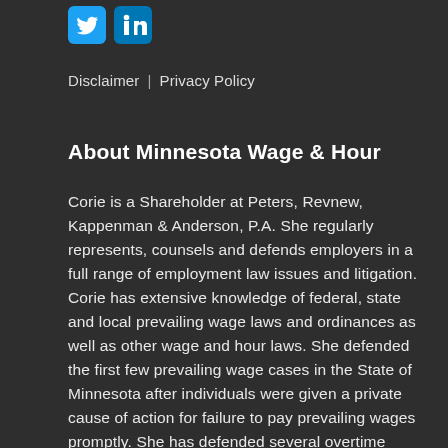[Figure (logo): Twitter bird icon (blue) and LinkedIn icon (blue) social media buttons]
Disclaimer | Privacy Policy
About Minnesota Wage & Hour
Corie is a Shareholder at Peters, Revnew, Kappenman & Anderson, P.A. She regularly represents, counsels and defends employers in a full range of employment law issues and litigation. Corie has extensive knowledge of federal, state and local prevailing wage laws and ordinances as well as other wage and hour laws. She defended the first few prevailing wage cases in the State of Minnesota after individuals were given a private cause of action for failure to pay prevailing wages promptly. She has defended several overtime misclassification cases and regularly audits employers' workplace practices with respect to wage and hour matters. She enjoys writing so much and is so passionate about wage and hour laws, that she started this blog to empower "Googling" HR professionals and employers with relevant and timely Minnesota wage